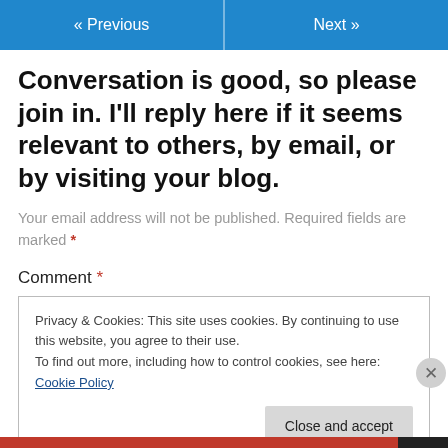« Previous   Next »
Conversation is good, so please join in. I'll reply here if it seems relevant to others, by email, or by visiting your blog.
Your email address will not be published. Required fields are marked *
Comment *
Privacy & Cookies: This site uses cookies. By continuing to use this website, you agree to their use.
To find out more, including how to control cookies, see here: Cookie Policy
Close and accept